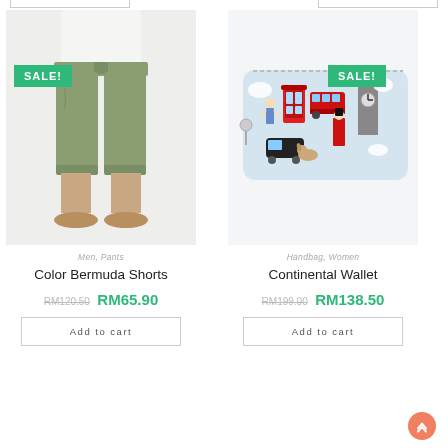[Figure (photo): Man wearing olive green bermuda shorts with white shirt, shown from waist down, with SALE! badge]
Men, Pants
Color Bermuda Shorts
RM120.50  RM65.90
Add to cart
[Figure (photo): Light blue continental wallet with London-themed illustrations including red telephone box, Big Ben, double decker bus, royal guard, and black cab. SALE! badge shown.]
Handbag, Women
Continental Wallet
RM199.00  RM138.50
Add to cart